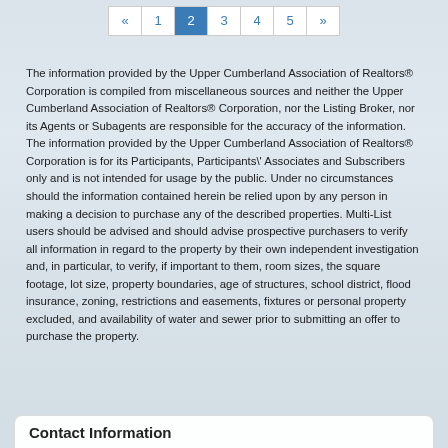« 1 2 3 4 5 »
The information provided by the Upper Cumberland Association of Realtors® Corporation is compiled from miscellaneous sources and neither the Upper Cumberland Association of Realtors® Corporation, nor the Listing Broker, nor its Agents or Subagents are responsible for the accuracy of the information. The information provided by the Upper Cumberland Association of Realtors® Corporation is for its Participants, Participants\' Associates and Subscribers only and is not intended for usage by the public. Under no circumstances should the information contained herein be relied upon by any person in making a decision to purchase any of the described properties. Multi-List users should be advised and should advise prospective purchasers to verify all information in regard to the property by their own independent investigation and, in particular, to verify, if important to them, room sizes, the square footage, lot size, property boundaries, age of structures, school district, flood insurance, zoning, restrictions and easements, fixtures or personal property excluded, and availability of water and sewer prior to submitting an offer to purchase the property.
Contact Information